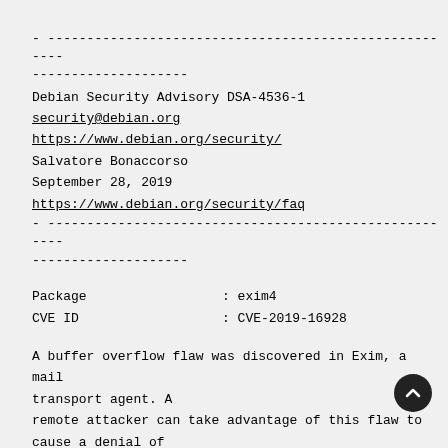- --------------------------------------------------------------------------------
Debian Security Advisory DSA-4536-1
security@debian.org
https://www.debian.org/security/
Salvatore Bonaccorso
September 28, 2019
https://www.debian.org/security/faq
- --------------------------------------------------------------------------------
| Package | : | exim4 |
| CVE ID | : | CVE-2019-16928 |
A buffer overflow flaw was discovered in Exim, a mail transport agent. A remote attacker can take advantage of this flaw to cause a denial of service, or potentially the execution of arbitrary code.